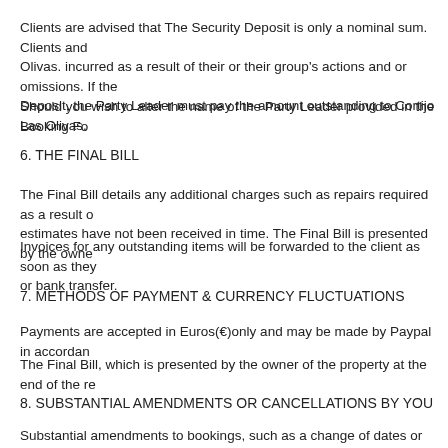Clients are advised that The Security Deposit is only a nominal sum. Clients and Olivas. incurred as a result of their or their group's actions and or omissions. If the Deposit, the Party Leader must pay the amount outstanding to Cortijo Las Olivas.
Should you wish to alter the name of the Party Leader provided in the Booking Fo
6. THE FINAL BILL
The Final Bill details any additional charges such as repairs required as a result o estimates have not been received in time. The Final Bill is presented by the owne
Invoices for any outstanding items will be forwarded to the client as soon as they or bank transfer.
7. METHODS OF PAYMENT & CURRENCY FLUCTUATIONS
Payments are accepted in Euros(€)only and may be made by Paypal in accordan
The Final Bill, which is presented by the owner of the property at the end of the re
8. SUBSTANTIAL AMENDMENTS OR CANCELLATIONS BY YOU
Substantial amendments to bookings, such as a change of dates or properties, o writing and may be subject to penalty charges as follows:
I. Amendments requested more than four weeks (28 days) before the first day of the cost of the revised arrangements.
II. Notices of cancellation or of substantial amendments received within four wee